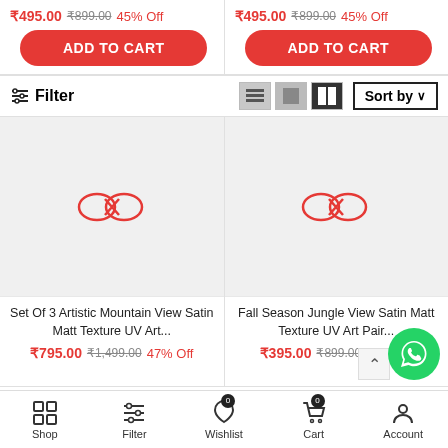₹495.00 ₹899.00 45% Off | ADD TO CART (left column)
₹495.00 ₹899.00 45% Off | ADD TO CART (right column)
Filter | Sort by (filter bar with view icons)
[Figure (photo): Product placeholder image with red cursive alpha/infinity logo on grey background - left product]
[Figure (photo): Product placeholder image with red cursive alpha/infinity logo on grey background - right product]
Set Of 3 Artistic Mountain View Satin Matt Texture UV Art...
₹795.00 ₹1,499.00 47% Off
Fall Season Jungle View Satin Matt Texture UV Art Pair...
₹395.00 ₹899.00 57% Off
Shop | Filter | Wishlist (0) | Cart (0) | Account